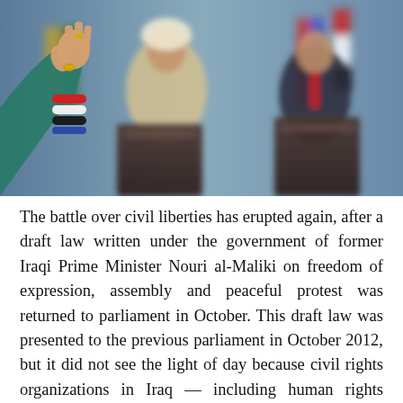[Figure (photo): A press conference scene showing a raised hand with colorful bracelets (Iraqi flag colors) in the foreground, and two people standing at podiums in the blurred background with flags visible.]
The battle over civil liberties has erupted again, after a draft law written under the government of former Iraqi Prime Minister Nouri al-Maliki on freedom of expression, assembly and peaceful protest was returned to parliament in October. This draft law was presented to the previous parliament in October 2012, but it did not see the light of day because civil rights organizations in Iraq — including human rights organizations, the Journalistic Freedoms Observatory (JFO) and the Iraqi Association for the Defense of Culture — resisted the law and succeed in obstructing it and preventing its ratification